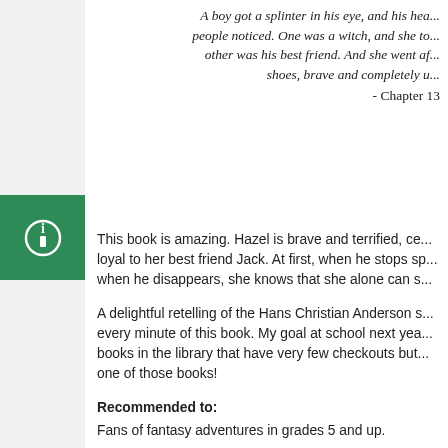A boy got a splinter in his eye, and his heart... people noticed. One was a witch, and she to... other was his best friend. And she went af... shoes, brave and completely u... - Chapter 13
This book is amazing. Hazel is brave and terrified, ce... loyal to her best friend Jack. At first, when he stops sp... when he disappears, she knows that she alone can s...
A delightful retelling of the Hans Christian Anderson s... every minute of this book. My goal at school next yea... books in the library that have very few checkouts but... one of those books!
Recommended to:
Fans of fantasy adventures in grades 5 and up.
fantasy  middle grade  Strong female protagonist